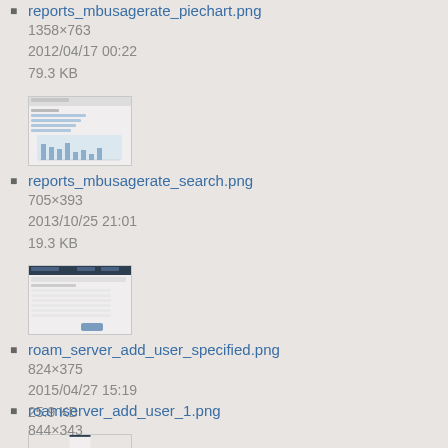reports_mbusagerate_piechart.png
1358×763
2012/04/17 00:22
79.3 KB
[Figure (screenshot): Thumbnail of reports_mbusagerate_piechart.png showing a chart/report screen]
reports_mbusagerate_search.png
705×393
2013/10/25 21:01
19.3 KB
[Figure (screenshot): Thumbnail of reports_mbusagerate_search.png showing a search/form screen]
roam_server_add_user_specified.png
824×375
2015/04/27 15:19
25.9 KB
[Figure (screenshot): Thumbnail of roam_server_add_user_specified.png showing a form screen]
roamserver_add_user_1.png
844×343